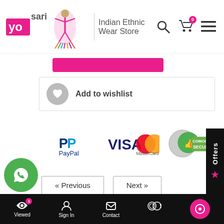yo sari | Indian Ethnic Wear Store
[Figure (screenshot): Pink add to cart button (partial)]
Add to wishlist
[Figure (logo): Payment logos: PayPal, VISA MasterCard, Comodo Secure]
« Previous   Next »
[Figure (infographic): Offers side tab with star]
Features | More info | NOTE | FAQ | Reviews
| Fabric | Fancy Fabric |
| --- | --- |
Viewed 1 | Sign In | Contact | $ | chat